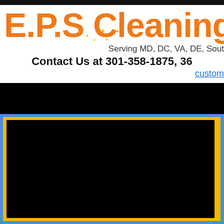E.P.S Cleaning
Serving MD, DC, VA, DE, Sout
Contact Us at 301-358-1875, 36
custom
[Figure (photo): Large dark/black panel with blue and yellow border frame, appears to be a video or image embed area]